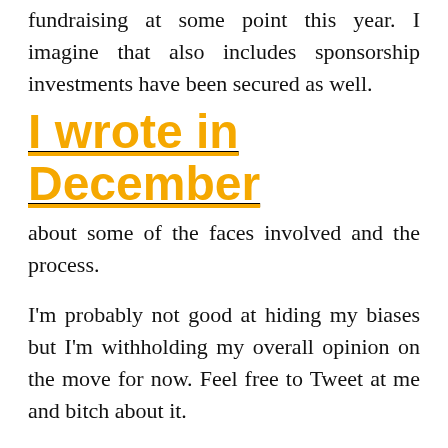fundraising at some point this year. I imagine that also includes sponsorship investments have been secured as well.
I wrote in December
about some of the faces involved and the process.
I'm probably not good at hiding my biases but I'm withholding my overall opinion on the move for now. Feel free to Tweet at me and bitch about it.